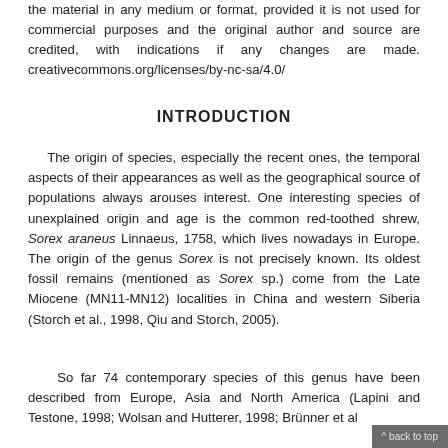the material in any medium or format, provided it is not used for commercial purposes and the original author and source are credited, with indications if any changes are made. creativecommons.org/licenses/by-nc-sa/4.0/
INTRODUCTION
The origin of species, especially the recent ones, the temporal aspects of their appearances as well as the geographical source of populations always arouses interest. One interesting species of unexplained origin and age is the common red-toothed shrew, Sorex araneus Linnaeus, 1758, which lives nowadays in Europe. The origin of the genus Sorex is not precisely known. Its oldest fossil remains (mentioned as Sorex sp.) come from the Late Miocene (MN11-MN12) localities in China and western Siberia (Storch et al., 1998, Qiu and Storch, 2005).
So far 74 contemporary species of this genus have been described from Europe, Asia and North America (Lapini and Testone, 1998; Wolsan and Hutterer, 1998; Brünner et al
^ back to top